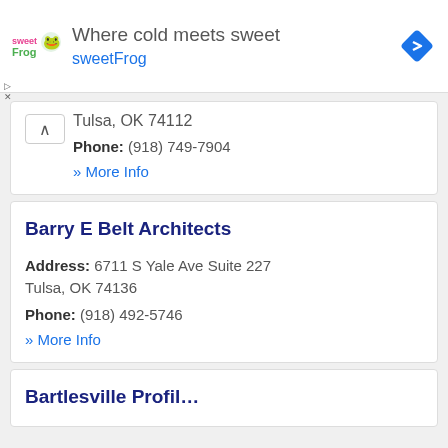[Figure (logo): sweetFrog logo with colorful text and ad banner: 'Where cold meets sweet / sweetFrog']
Tulsa, OK 74112
Phone: (918) 749-7904
» More Info
Barry E Belt Architects
Address: 6711 S Yale Ave Suite 227
Tulsa, OK 74136
Phone: (918) 492-5746
» More Info